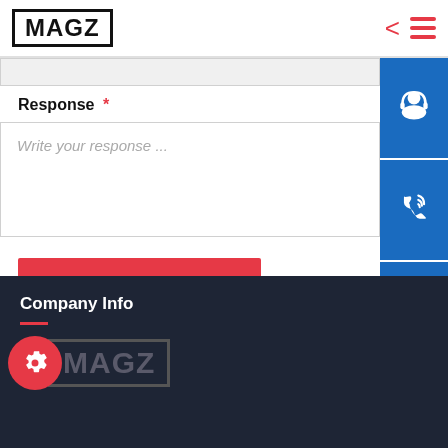MAGZ
Response *
Write your response ...
Send Response
[Figure (illustration): Three blue square icons on right sidebar: headset/support icon, phone/call icon, Skype icon]
Company Info — MAGZ logo with gear icon